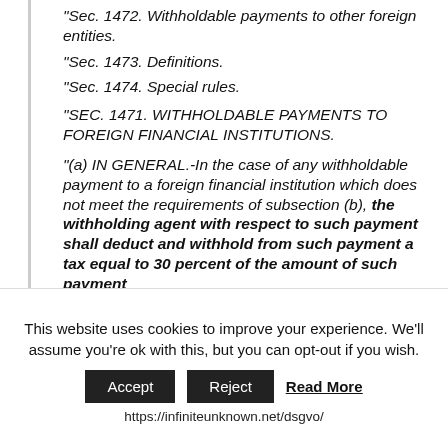"Sec. 1472. Withholdable payments to other foreign entities.
"Sec. 1473. Definitions.
"Sec. 1474. Special rules.
"SEC. 1471. WITHHOLDABLE PAYMENTS TO FOREIGN FINANCIAL INSTITUTIONS.
"(a) IN GENERAL.-In the case of any withholdable payment to a foreign financial institution which does not meet the requirements of subsection (b), the withholding agent with respect to such payment shall deduct and withhold from such payment a tax equal to 30 percent of the amount of such payment
This website uses cookies to improve your experience. We'll assume you're ok with this, but you can opt-out if you wish. Accept Reject Read More https://infiniteunknown.net/dsgvo/